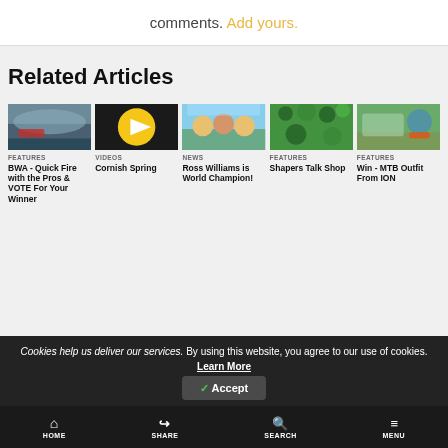comments. Add yours.
Related Articles
[Figure (photo): Kitesurfing action shot thumbnail]
FEATURES
BWA - Quick Fire with the Pros & VOTE For Your Winner
[Figure (photo): Video thumbnail with yellow play button]
VIDEOS
Cornish Spring
[Figure (photo): Group of surfers photo thumbnail]
NEWS
Ross Williams is World Champion!
[Figure (photo): Green foliage photo thumbnail]
FEATURES
Shapers Talk Shop
[Figure (photo): Mountain biker in green landscape thumbnail]
FEATURES
Win - MTB Outfit From ION
Cookies help us deliver our services. By using this website, you agree to our use of cookies. Learn More
✓ Accept
HOME  SHARE  SEARCH  MENU